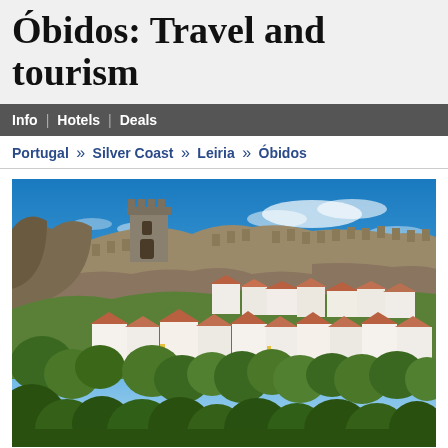Óbidos: Travel and tourism
Info | Hotels | Deals
Portugal » Silver Coast » Leiria » Óbidos
[Figure (photo): Panoramic view of Óbidos, Portugal, showing white-walled houses with terracotta roofs, lush green trees, and a medieval castle tower against a bright blue sky with scattered clouds.]